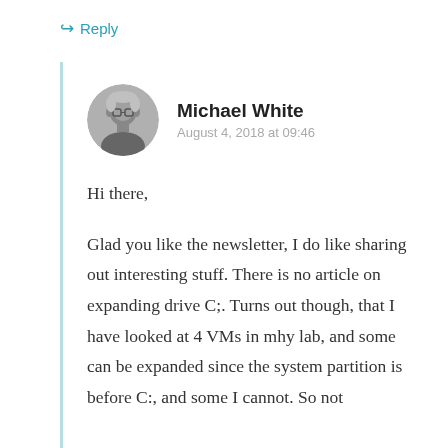↳ Reply
[Figure (photo): Circular avatar photo of a middle-aged man with gray hair, black and white photo]
Michael White
August 4, 2018 at 09:46
Hi there,
Glad you like the newsletter, I do like sharing out interesting stuff. There is no article on expanding drive C;. Turns out though, that I have looked at 4 VMs in mhy lab, and some can be expanded since the system partition is before C:, and some I cannot. So not